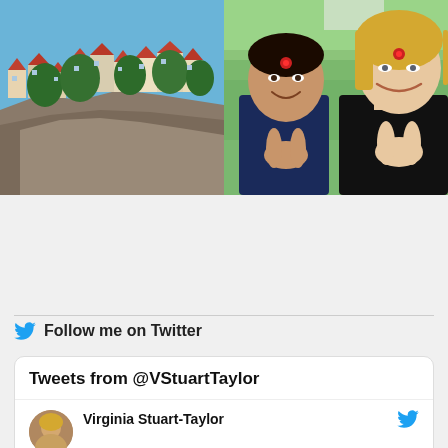[Figure (photo): Left photo: Mediterranean coastal town with colorful buildings on rocky cliffs above turquoise blue water]
[Figure (photo): Right photo: Two women both with red bindis on their foreheads, hands together in prayer gesture, outdoors with green trees in background]
Follow me on Twitter
Tweets from @VStuartTaylor
Virginia Stuart-Taylor